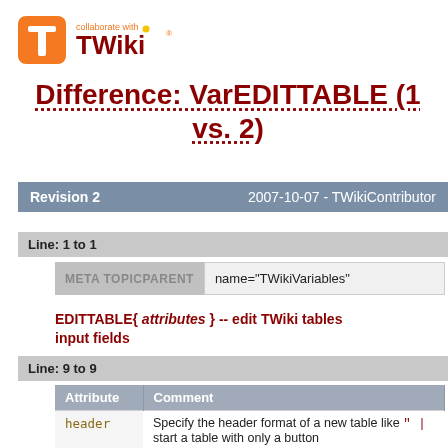[Figure (logo): TWiki logo with orange T icon and 'collaborate with TWiki' text]
Difference: VarEDITTABLE (1 vs. 2)
Revision 2    2007-10-07 - TWikiContributor
Line: 1 to 1
| META TOPICPARENT | name="TWikiVariables" |
| --- | --- |
EDITTABLE{ attributes } -- edit TWiki tables using input fields
Line: 9 to 9
| Attribute | Comment |
| --- | --- |
| header | Specify the header format of a new table like " | *...*  |" or start a table with only a button |
| format | The format of one column when editing the table. A field, or any of these edit field types: |